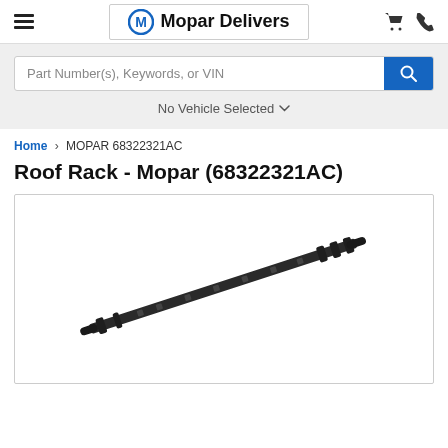Mopar Delivers
Part Number(s), Keywords, or VIN
No Vehicle Selected
Home > MOPAR 68322321AC
Roof Rack - Mopar (68322321AC)
[Figure (photo): Product photo of a black elongated roof rack bar (Mopar part 68322321AC), shown diagonally against a white background.]